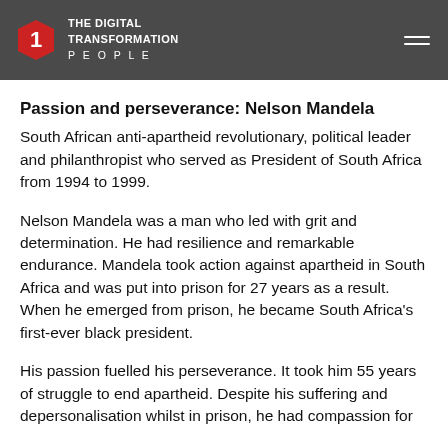THE DIGITAL TRANSFORMATION PEOPLE
Passion and perseverance: Nelson Mandela
South African anti-apartheid revolutionary, political leader and philanthropist who served as President of South Africa from 1994 to 1999.
Nelson Mandela was a man who led with grit and determination. He had resilience and remarkable endurance. Mandela took action against apartheid in South Africa and was put into prison for 27 years as a result. When he emerged from prison, he became South Africa's first-ever black president.
His passion fuelled his perseverance. It took him 55 years of struggle to end apartheid. Despite his suffering and depersonalisation whilst in prison, he had compassion for